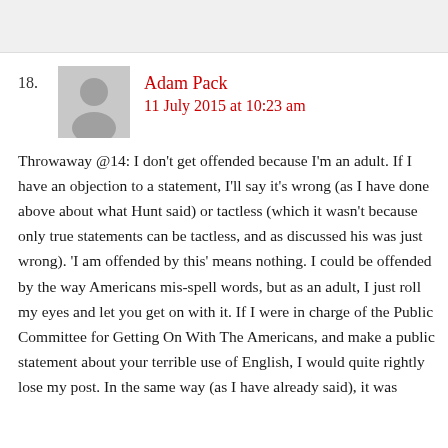18. Adam Pack
11 July 2015 at 10:23 am
Throwaway @14: I don't get offended because I'm an adult. If I have an objection to a statement, I'll say it's wrong (as I have done above about what Hunt said) or tactless (which it wasn't because only true statements can be tactless, and as discussed his was just wrong). 'I am offended by this' means nothing. I could be offended by the way Americans mis-spell words, but as an adult, I just roll my eyes and let you get on with it. If I were in charge of the Public Committee for Getting On With The Americans, and make a public statement about your terrible use of English, I would quite rightly lose my post. In the same way (as I have already said), it was